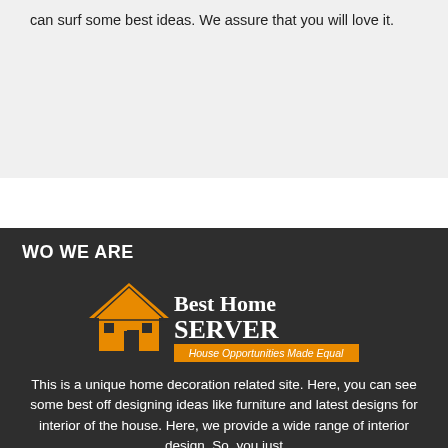can surf some best ideas. We assure that you will love it.
WO WE ARE
[Figure (logo): Best Home SERVER logo with orange house icon and tagline 'House Opportunities Made Equal']
This is a unique home decoration related site. Here, you can see some best off designing ideas like furniture and latest designs for interior of the house. Here, we provide a wide range of interior design. So, you just